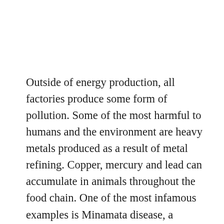Outside of energy production, all factories produce some form of pollution. Some of the most harmful to humans and the environment are heavy metals produced as a result of metal refining. Copper, mercury and lead can accumulate in animals throughout the food chain. One of the most infamous examples is Minamata disease, a neurological disorder that occurred when residents of Minamata, Japan, ate fish containing large amounts of mercury obtained from a nearby chemical factory. Since the 1950s, more than 1,700 individuals have